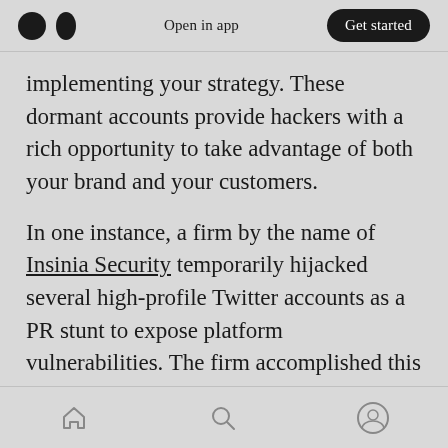Open in app | Get started
implementing your strategy. These dormant accounts provide hackers with a rich opportunity to take advantage of both your brand and your customers.
In one instance, a firm by the name of Insinia Security temporarily hijacked several high-profile Twitter accounts as a PR stunt to expose platform vulnerabilities. The firm accomplished this by taking advantage of the feature which enables posting by mobile devices, specifically cell phones.